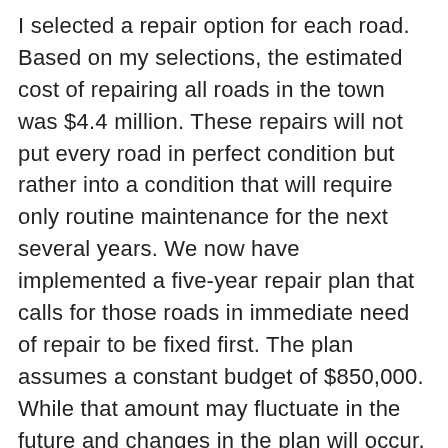I selected a repair option for each road. Based on my selections, the estimated cost of repairing all roads in the town was $4.4 million. These repairs will not put every road in perfect condition but rather into a condition that will require only routine maintenance for the next several years. We now have implemented a five-year repair plan that calls for those roads in immediate need of repair to be fixed first. The plan assumes a constant budget of $850,000. While that amount may fluctuate in the future and changes in the plan will occur, it does provide an excellent starting point for providing guidance and reasoning for our pavement management strategies," said Ferris.